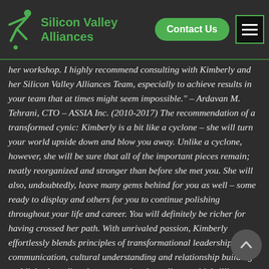Silicon Valley Alliances
her workshop. I highly recommend consulting with Kimberly and her Silicon Valley Alliances Team, especially to achieve results in your team that at times might seem impossible." – Ardavan M. Tehrani, CTO – ASSIA Inc. (2010-2017) The recommendation of a transformed cynic: Kimberly is a bit like a cyclone – she will turn your world upside down and blow you away. Unlike a cyclone, however, she will be sure that all of the important pieces remain; neatly reorganized and stronger than before she met you. She will also, undoubtedly, leave many gems behind for you as well – some ready to display and others for you to continue polishing throughout your life and career. You will definitely be richer for having crossed her path. With unrivaled passion, Kimberly effortlessly blends principles of transformational leadership, communication, cultural understanding and relationship building and links them directly to operational excellence with brilliant simplicity. I learned more practical skills in a 6-day program led by Kimberly than I have in nearly three decades of management education and experience. These lessons will not only allow me to foster an